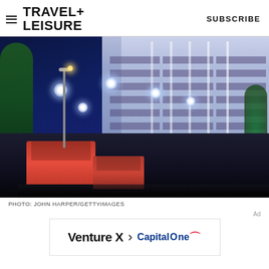TRAVEL+ LEISURE   SUBSCRIBE
[Figure (photo): Night street scene on Oxford Street, London. A grand illuminated building (Selfridges) with purple-tinted classical facade fills the right side. Red double-decker buses line the street. Decorative jellyfish-shaped Christmas lights hang overhead. Trees with festive lighting visible on right. Deep blue night sky on left.]
PHOTO: JOHN HARPER/GETTYIMAGES
[Figure (advertisement): Capital One Venture X credit card advertisement banner. Shows text 'Venture X' with a right-pointing chevron arrow followed by the Capital One logo.]